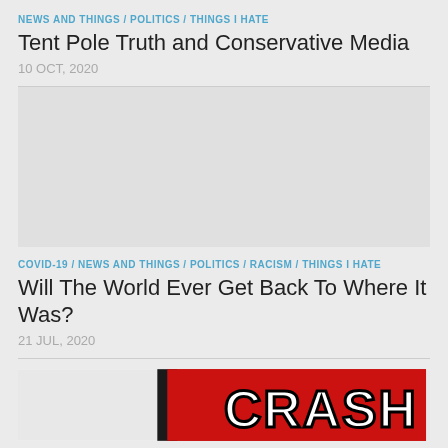NEWS AND THINGS / POLITICS / THINGS I HATE
Tent Pole Truth and Conservative Media
10 OCT, 2020
[Figure (photo): Gray empty image placeholder area]
COVID-19 / NEWS AND THINGS / POLITICS / RACISM / THINGS I HATE
Will The World Ever Get Back To Where It Was?
21 JUL, 2020
[Figure (photo): CRASH text logo in white letters on red and black background]